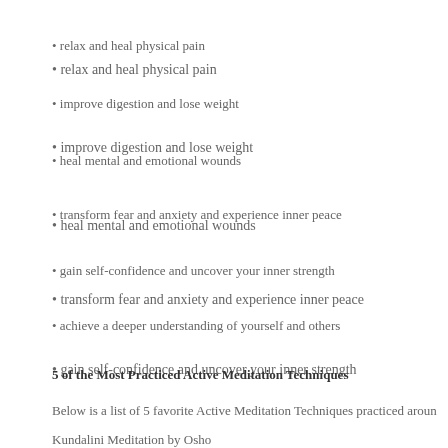• relax and heal physical pain
• improve digestion and lose weight
• heal mental and emotional wounds
• transform fear and anxiety and experience inner peace
• gain self-confidence and uncover your inner strength
• achieve a deeper understanding of yourself and others
5 of the Most Practiced Active Meditation Techniques
Below is a list of 5 favorite Active Meditation Techniques practiced aroun
Kundalini Meditation by Osho